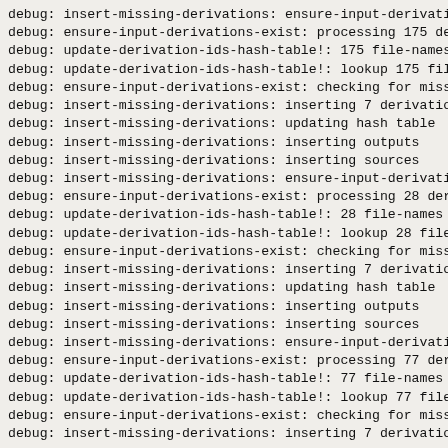debug: insert-missing-derivations: ensure-input-derivati
debug: ensure-input-derivations-exist: processing 175 de
debug: update-derivation-ids-hash-table!: 175 file-names
debug: update-derivation-ids-hash-table!: lookup 175 fil
debug: ensure-input-derivations-exist: checking for miss
debug: insert-missing-derivations: inserting 7 derivatio
debug: insert-missing-derivations: updating hash table
debug: insert-missing-derivations: inserting outputs
debug: insert-missing-derivations: inserting sources
debug: insert-missing-derivations: ensure-input-derivati
debug: ensure-input-derivations-exist: processing 28 der
debug: update-derivation-ids-hash-table!: 28 file-names
debug: update-derivation-ids-hash-table!: lookup 28 file
debug: ensure-input-derivations-exist: checking for miss
debug: insert-missing-derivations: inserting 7 derivatio
debug: insert-missing-derivations: updating hash table
debug: insert-missing-derivations: inserting outputs
debug: insert-missing-derivations: inserting sources
debug: insert-missing-derivations: ensure-input-derivati
debug: ensure-input-derivations-exist: processing 77 der
debug: update-derivation-ids-hash-table!: 77 file-names
debug: update-derivation-ids-hash-table!: lookup 77 file
debug: ensure-input-derivations-exist: checking for miss
debug: insert-missing-derivations: inserting 7 derivatio